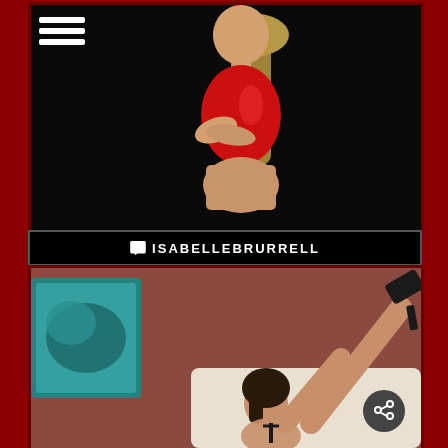[Figure (photo): Blonde woman in red latex/vinyl outfit posing against dark background, viewed from behind/side]
ISABELLEBRURRELL
[Figure (photo): Dark-haired woman in black strappy outfit posing with legs raised, wearing black high heels, against reddish-brown background with teal artwork visible]